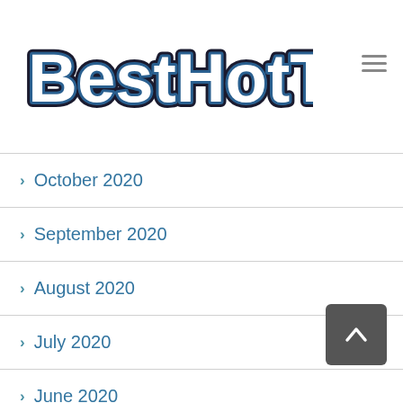[Figure (logo): BestHotTubs logo with stylized bubble letters in white/blue with dark outline]
> October 2020
> September 2020
> August 2020
> July 2020
> June 2020
> May 2020
> April 2020
> March 2020